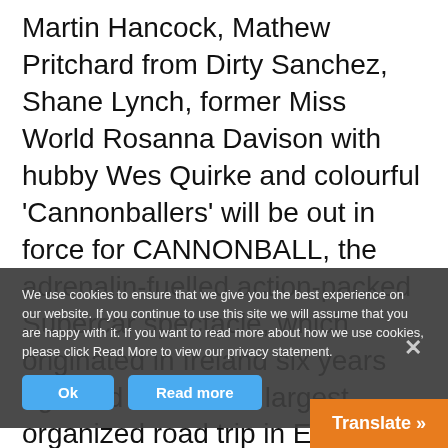Martin Hancock, Mathew Pritchard from Dirty Sanchez, Shane Lynch, former Miss World Rosanna Davison with hubby Wes Quirke and colourful ‘Cannonballers’ will be out in force for CANNONBALL, the adrenalin-fuelled action-packed Supercar spectacle, which originated in Ireland six years ago and is now the largest organized road trip in Europe. CANNONBALL goes up a gear once again with 160 supercars worth an estimated €25 million CANNONBALL is accompanied by Movie Popcorn, is the largest organised road trip in Europe with most of the wor
We use cookies to ensure that we give you the best experience on our website. If you continue to use this site we will assume that you are happy with it. If you want to read more about how we use cookies, please click Read More to view our privacy statement.